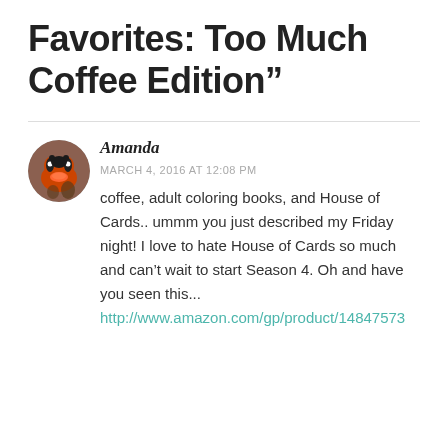Favorites: Too Much Coffee Edition”
Amanda
MARCH 4, 2016 AT 12:08 PM
coffee, adult coloring books, and House of Cards.. ummm you just described my Friday night! I love to hate House of Cards so much and can’t wait to start Season 4. Oh and have you seen this...
http://www.amazon.com/gp/product/14847573